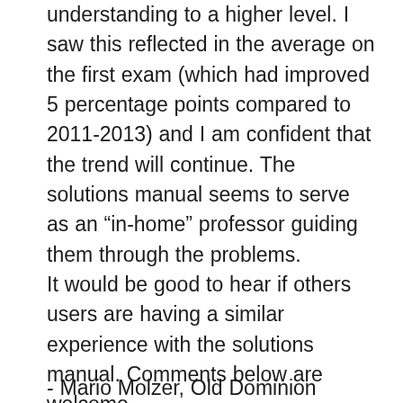understanding to a higher level. I saw this reflected in the average on the first exam (which had improved 5 percentage points compared to 2011-2013) and I am confident that the trend will continue. The solutions manual seems to serve as an “in-home” professor guiding them through the problems.
It would be good to hear if others users are having a similar experience with the solutions manual. Comments below are welcome.
- Mario Molzer, Old Dominion University